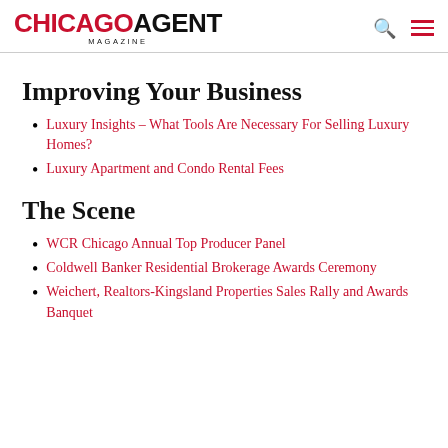CHICAGO AGENT MAGAZINE
Improving Your Business
Luxury Insights – What Tools Are Necessary For Selling Luxury Homes?
Luxury Apartment and Condo Rental Fees
The Scene
WCR Chicago Annual Top Producer Panel
Coldwell Banker Residential Brokerage Awards Ceremony
Weichert, Realtors-Kingsland Properties Sales Rally and Awards Banquet